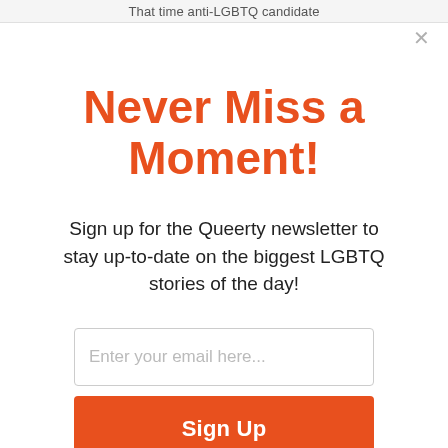That time anti-LGBTQ candidate
Never Miss a Moment!
Sign up for the Queerty newsletter to stay up-to-date on the biggest LGBTQ stories of the day!
Enter your email here...
Sign Up